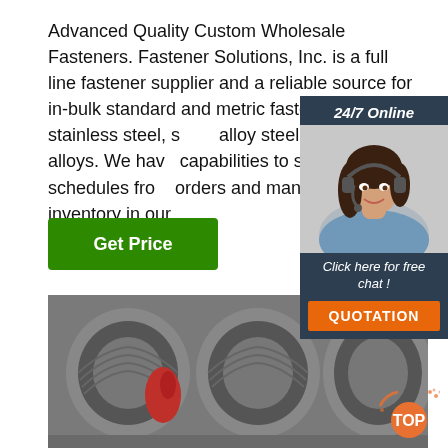Advanced Quality Custom Wholesale Fasteners. Fastener Solutions, Inc. is a full line fastener supplier and a reliable source for in-bulk standard and metric fasteners in stainless steel, s... alloy steel, and all exotic alloys. We have capabilities to set delivery schedules from orders and manage the inventory in our
[Figure (infographic): 24/7 Online chat widget with woman wearing headset, 'Click here for free chat!' text, and orange QUOTATION button]
Get Price
[Figure (photo): Industrial wire coils/spools stacked in warehouse setting]
[Figure (logo): TOP badge in orange with decorative dots]